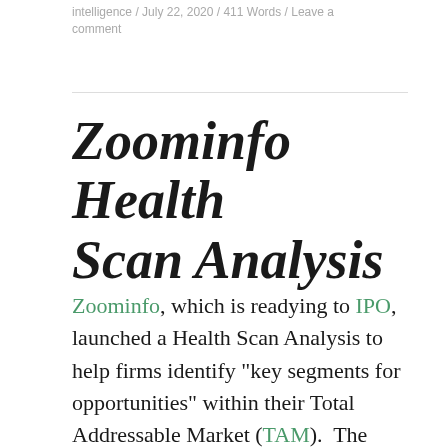intelligence / July 22, 2020 / 411 Words / Leave a comment
Zoominfo Health Scan Analysis
Zoominfo, which is readying to IPO, launched a Health Scan Analysis to help firms identify “key segments for opportunities” within their Total Addressable Market (TAM).  The service identifies targetable market segments that are less impacted by COVID along with which segments to avoid.  Firms can then “quickly pivot their go-to-market strategy and focus their efforts on worthwhile